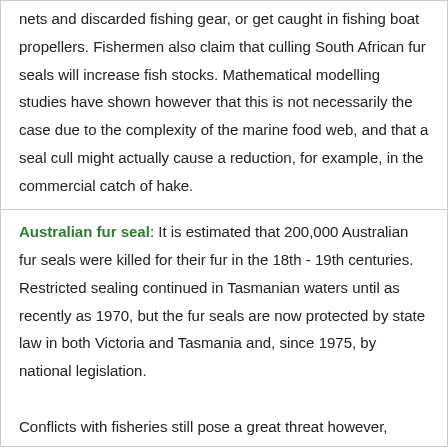nets and discarded fishing gear, or get caught in fishing boat propellers. Fishermen also claim that culling South African fur seals will increase fish stocks. Mathematical modelling studies have shown however that this is not necessarily the case due to the complexity of the marine food web, and that a seal cull might actually cause a reduction, for example, in the commercial catch of hake.
Australian fur seal: It is estimated that 200,000 Australian fur seals were killed for their fur in the 18th - 19th centuries. Restricted sealing continued in Tasmanian waters until as recently as 1970, but the fur seals are now protected by state law in both Victoria and Tasmania and, since 1975, by national legislation. Conflicts with fisheries still pose a great threat however,